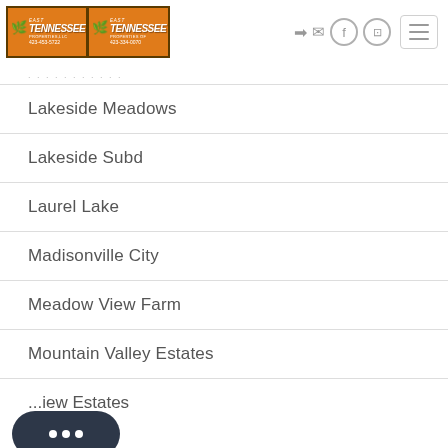[Figure (logo): East Tennessee Properties LLC logo with two orange panels, phone numbers 423-453-5722 and 423-354-0070]
...........
Lakeside Meadows
Lakeside Subd
Laurel Lake
Madisonville City
Meadow View Farm
Mountain Valley Estates
...View Estates